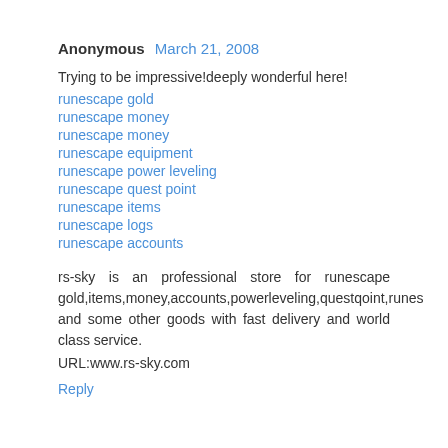Anonymous  March 21, 2008
Trying to be impressive!deeply wonderful here!
runescape gold
runescape money
runescape money
runescape equipment
runescape power leveling
runescape quest point
runescape items
runescape logs
runescape accounts
rs-sky is an professional store for runescape gold,items,money,accounts,powerleveling,questqoint,runes and some other goods with fast delivery and world class service.
URL:www.rs-sky.com
Reply